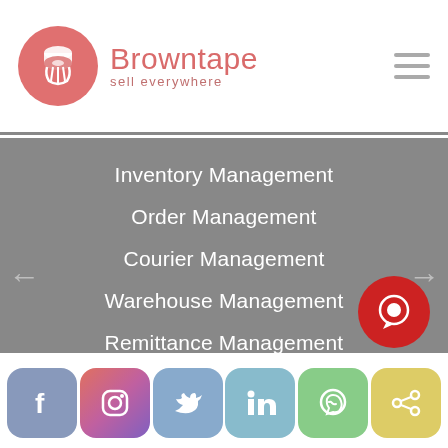[Figure (logo): Browntape logo: pink circle with hand holding a tape roll icon, brand name 'Browntape' in pink with tagline 'sell everywhere']
Inventory Management
Order Management
Courier Management
Warehouse Management
Remittance Management
Analytics Dashboard & Reports
[Figure (infographic): Social media icon bar at bottom: Facebook, Instagram, Twitter, LinkedIn, WhatsApp, YouTube icons as colored rounded rectangles]